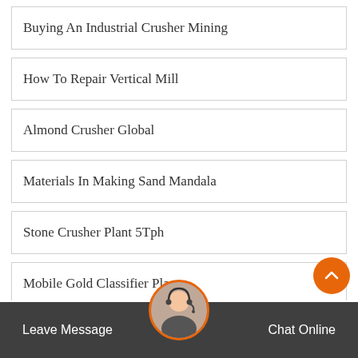Buying An Industrial Crusher Mining
How To Repair Vertical Mill
Almond Crusher Global
Materials In Making Sand Mandala
Stone Crusher Plant 5Tph
Mobile Gold Classifier Plants
Rule Of Thumb Used When Buying A Jaw Crusher Or Gyr...
Leave Message   Chat Online